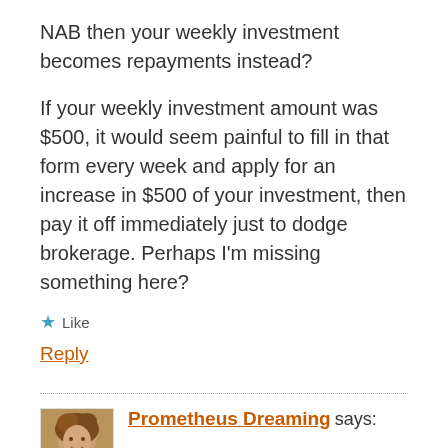NAB then your weekly investment becomes repayments instead?
If your weekly investment amount was $500, it would seem painful to fill in that form every week and apply for an increase in $500 of your investment, then pay it off immediately just to dodge brokerage. Perhaps I’m missing something here?
★ Like
Reply
Prometheus Dreaming says: